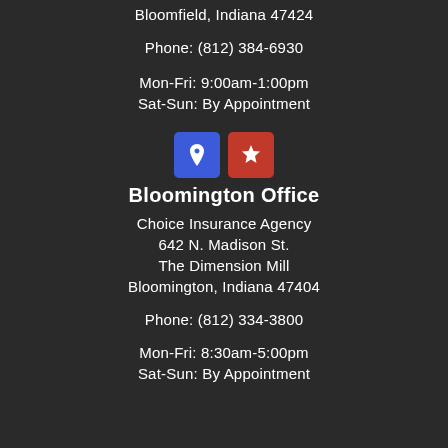Bloomfield, Indiana 47424
Phone: (812) 384-6930
Mon-Fri: 9:00am-1:00pm
Sat-Sun: By Appointment
[Figure (illustration): Two social media / map icon buttons: a blue map pin icon and a red Yelp burst icon]
Bloomington Office
Choice Insurance Agency
642 N. Madison St.
The Dimension Mill
Bloomington, Indiana 47404
Phone: (812) 334-3800
Mon-Fri: 8:30am-5:00pm
Sat-Sun: By Appointment